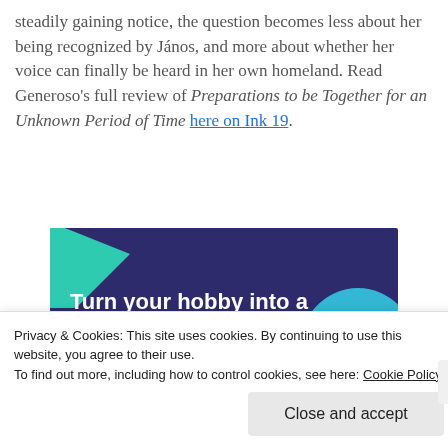steadily gaining notice, the question becomes less about her being recognized by János, and more about whether her voice can finally be heard in her own homeland. Read Generoso's full review of Preparations to be Together for an Unknown Period of Time here on Ink 19.
[Figure (infographic): Advertisement banner with dark purple background, teal and cyan decorative shapes, text reading 'Turn your hobby into a business in 8 steps']
Privacy & Cookies: This site uses cookies. By continuing to use this website, you agree to their use.
To find out more, including how to control cookies, see here: Cookie Policy